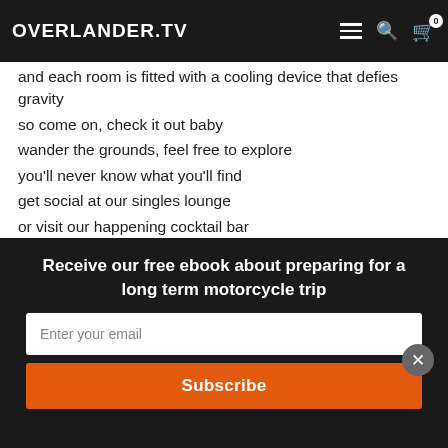OVERLANDER.TV
and each room is fitted with a cooling device that defies gravity
so come on, check it out baby
wander the grounds, feel free to explore
you'll never know what you'll find
get social at our singles lounge
or visit our happening cocktail bar
failed marriage, bankrupt or just plain depressed
Henry Berrisford is the place for you
we understand your misery, baby”
Receive our free ebook about preparing for a long term motorcycle trip
Enter your email
Subscribe